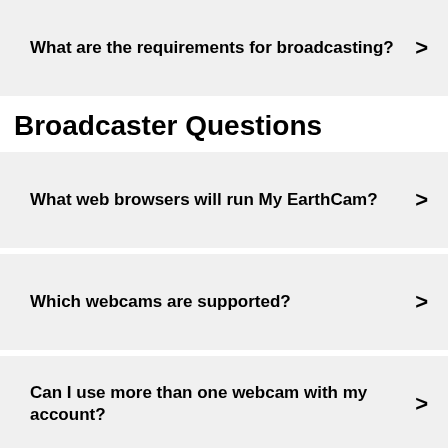What are the requirements for broadcasting? >
Broadcaster Questions
What web browsers will run My EarthCam? >
Which webcams are supported? >
Can I use more than one webcam with my account? >